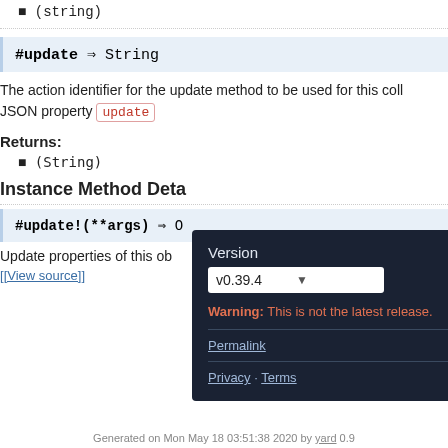(string)
#update ⇒ String
The action identifier for the update method to be used for this collection. JSON property update
Returns:
(String)
Instance Method Details
#update!(**args) ⇒ O
Update properties of this ob
[View source]
Version v0.39.4 Warning: This is not the latest release. Permalink Privacy · Terms
Generated on Mon May 18 03:51:38 2020 by yard 0.9